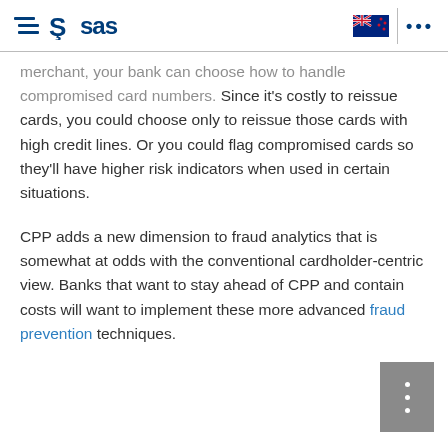SAS logo header with hamburger menu, New Zealand flag, and ellipsis menu
merchant, your bank can choose how to handle compromised card numbers. Since it's costly to reissue cards, you could choose only to reissue those cards with high credit lines. Or you could flag compromised cards so they'll have higher risk indicators when used in certain situations.
CPP adds a new dimension to fraud analytics that is somewhat at odds with the conventional cardholder-centric view. Banks that want to stay ahead of CPP and contain costs will want to implement these more advanced fraud prevention techniques.